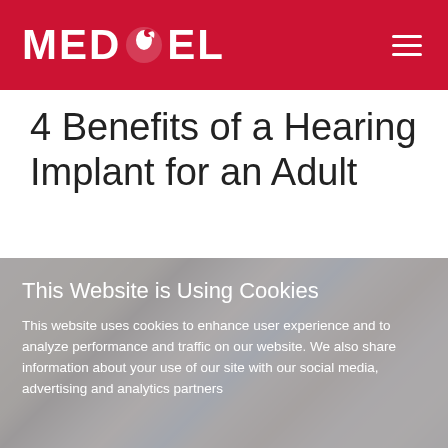MED-EL
4 Benefits of a Hearing Implant for an Adult
[Figure (photo): Elderly man with glasses smiling, sitting next to a younger blonde woman, in front of a bookshelf with colorful books. Appears to be a family scene.]
This Website is Using Cookies
This website uses cookies to enhance user experience and to analyze performance and traffic on our website. We also share information about your use of our site with our social media, advertising and analytics partners